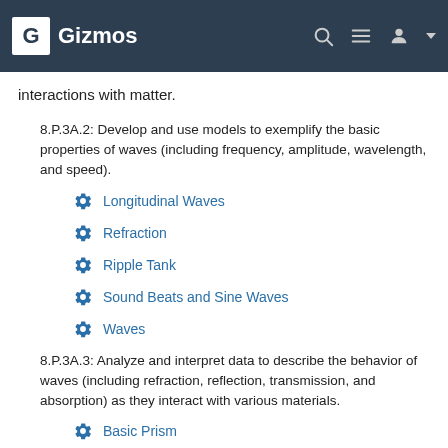Gizmos
interactions with matter.
8.P.3A.2: Develop and use models to exemplify the basic properties of waves (including frequency, amplitude, wavelength, and speed).
Longitudinal Waves
Refraction
Ripple Tank
Sound Beats and Sine Waves
Waves
8.P.3A.3: Analyze and interpret data to describe the behavior of waves (including refraction, reflection, transmission, and absorption) as they interact with various materials.
Basic Prism